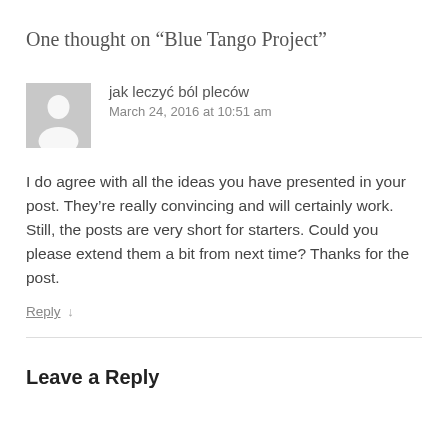One thought on “Blue Tango Project”
[Figure (illustration): Gray avatar/silhouette icon of a person, used as default commenter profile image]
jak leczyć ból pleców
March 24, 2016 at 10:51 am
I do agree with all the ideas you have presented in your post. They’re really convincing and will certainly work. Still, the posts are very short for starters. Could you please extend them a bit from next time? Thanks for the post.
Reply ↓
Leave a Reply